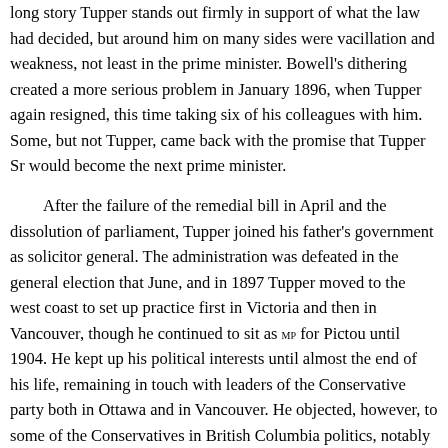long story Tupper stands out firmly in support of what the law had decided, but around him on many sides were vacillation and weakness, not least in the prime minister. Bowell's dithering created a more serious problem in January 1896, when Tupper again resigned, this time taking six of his colleagues with him. Some, but not Tupper, came back with the promise that Tupper Sr would become the next prime minister.

After the failure of the remedial bill in April and the dissolution of parliament, Tupper joined his father's government as solicitor general. The administration was defeated in the general election that June, and in 1897 Tupper moved to the west coast to set up practice first in Victoria and then in Vancouver, though he continued to sit as MP for Pictou until 1904. He kept up his political interests until almost the end of his life, remaining in touch with leaders of the Conservative party both in Ottawa and in Vancouver. He objected, however, to some of the Conservatives in British Columbia politics, notably Sir Richard McBride*,